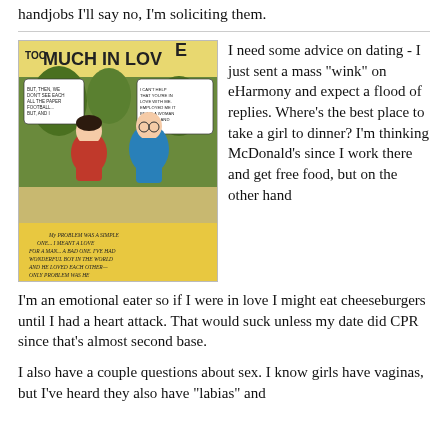handjobs I'll say no, I'm soliciting them.
[Figure (illustration): Vintage comic book cover titled 'TOO MUCH IN LOVE' showing a woman in red and a man in a blue suit with speech bubbles, in classic 1950s romance comic style.]
I need some advice on dating - I just sent a mass "wink" on eHarmony and expect a flood of replies. Where's the best place to take a girl to dinner? I'm thinking McDonald's since I work there and get free food, but on the other hand I'm an emotional eater so if I were in love I might eat cheeseburgers until I had a heart attack. That would suck unless my date did CPR since that's almost second base.
I also have a couple questions about sex. I know girls have vaginas, but I've heard they also have "labias" and